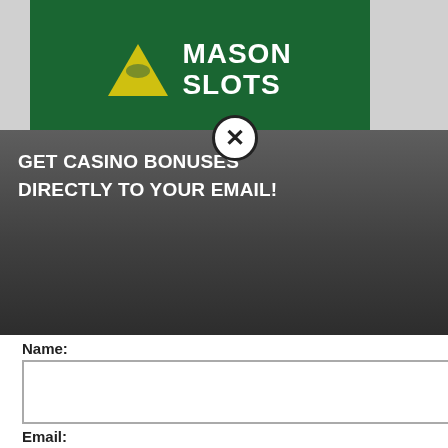[Figure (screenshot): Mason Slots casino website with popup overlay. The background shows the Mason Slots logo (green background with illuminati pyramid/eye symbol and white bold text 'MASON SLOTS'), an orange horizontal line, and partially visible text about 15 free spins no deposit bonus. A dark grey popup overlay appears on the left side with a close button (X in circle), header text 'GET CASINO BONUSES DIRECTLY TO YOUR EMAIL!', a white form area with Name and Email fields, a Submit button, and fine print about privacy policy. A black cookie consent banner is visible in the lower portion of the background.]
GET CASINO BONUSES DIRECTLY TO YOUR EMAIL!
Name:
Email:
Submit
By subscribing you are certifying that you have reviewed and accepted our updated Privacy and Cookie policy.
YES 15 FREE SPINS NO BONUS )
usive 15 free spins no
perience, we use
Using this site,
kie & privacy policy.
et 100 free spins + 100%